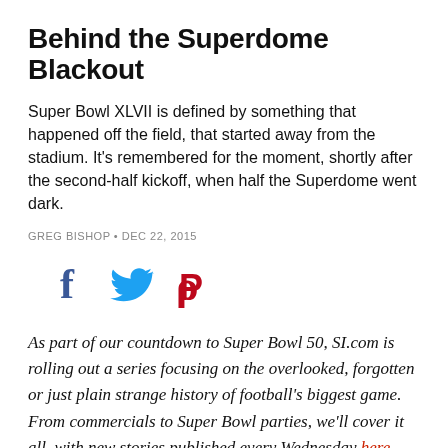Behind the Superdome Blackout
Super Bowl XLVII is defined by something that happened off the field, that started away from the stadium. It's remembered for the moment, shortly after the second-half kickoff, when half the Superdome went dark.
GREG BISHOP · DEC 22, 2015
[Figure (infographic): Social media share icons: Facebook (f), Twitter (bird), Pinterest (P)]
As part of our countdown to Super Bowl 50, SI.com is rolling out a series focusing on the overlooked, forgotten or just plain strange history of football's biggest game. From commercials to Super Bowl parties, we'll cover it all, with new stories published every Wednesday here